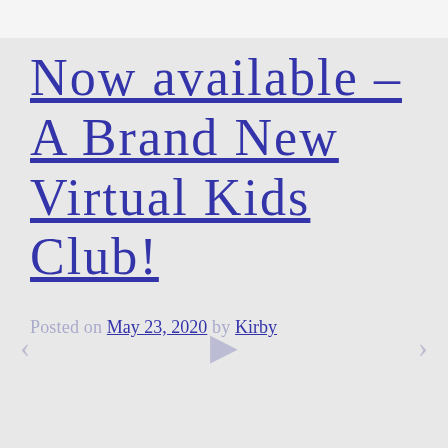Now available – A Brand New Virtual Kids Club!
Posted on May 23, 2020 by Kirby